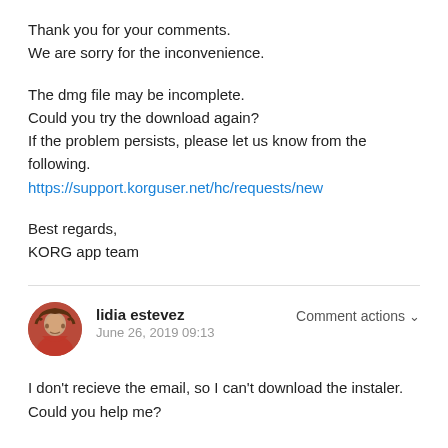Thank you for your comments.
We are sorry for the inconvenience.
The dmg file may be incomplete.
Could you try the download again?
If the problem persists, please let us know from the following.
https://support.korguser.net/hc/requests/new
Best regards,
KORG app team
lidia estevez
June 26, 2019 09:13
I don't recieve the email, so I can't download the instaler.
Could you help me?